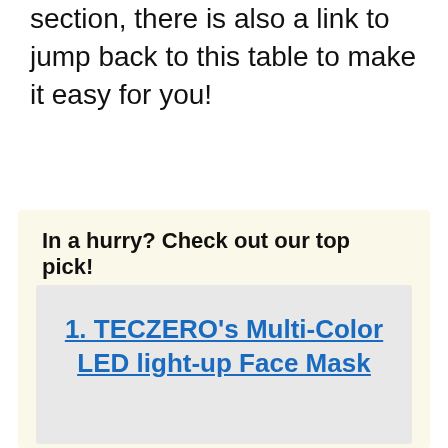section, there is also a link to jump back to this table to make it easy for you!
In a hurry? Check out our top pick!
1. TECZERO's Multi-Color LED light-up Face Mask